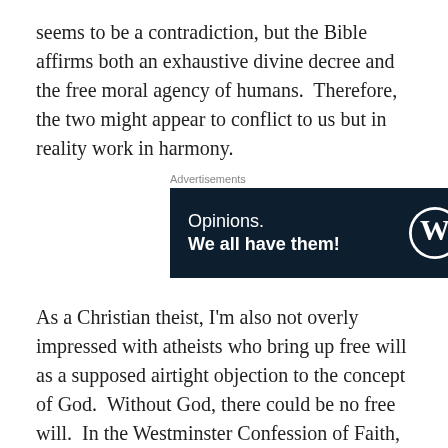seems to be a contradiction, but the Bible affirms both an exhaustive divine decree and the free moral agency of humans.  Therefore, the two might appear to conflict to us but in reality work in harmony.
[Figure (screenshot): Advertisement banner with dark navy background showing text 'Opinions. We all have them!' with WordPress and Begin Now logos on the right.]
As a Christian theist, I'm also not overly impressed with atheists who bring up free will as a supposed airtight objection to the concept of God.  Without God, there could be no free will.  In the Westminster Confession of Faith, we see that human freedom is upheld and founded on the decree of God.  In fact, metaphysically speaking, it seems illogical given the atheistic commitment to naturalism that we would have a free will. Continue reading →